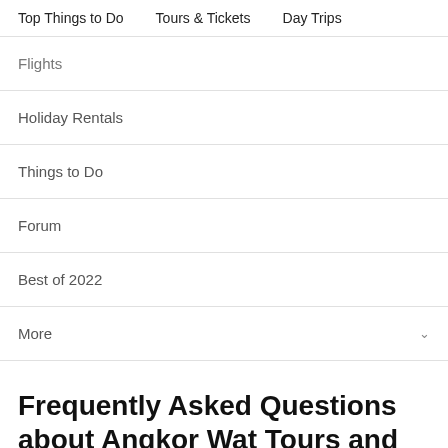Top Things to Do   Tours & Tickets   Day Trips
Flights
Holiday Rentals
Things to Do
Forum
Best of 2022
More
Frequently Asked Questions about Angkor Wat Tours and Tickets